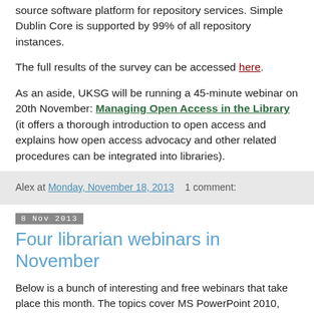source software platform for repository services. Simple Dublin Core is supported by 99% of all repository instances.
The full results of the survey can be accessed here.
As an aside, UKSG will be running a 45-minute webinar on 20th November: Managing Open Access in the Library (it offers a thorough introduction to open access and explains how open access advocacy and other related procedures can be integrated into libraries).
Alex at Monday, November 18, 2013   1 comment:
8 Nov 2013
Four librarian webinars in November
Below is a bunch of interesting and free webinars that take place this month. The topics cover MS PowerPoint 2010, Website re-design challenges, services for vision impaired patrons and where to find essential graphic novels for the adult reader.